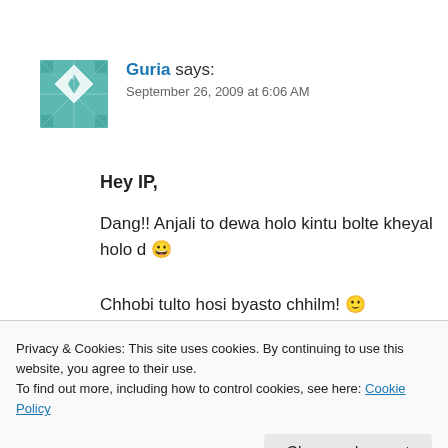[Figure (illustration): Geometric teal/white avatar icon for user Guria]
Guria says: September 26, 2009 at 6:06 AM
Hey IP,
Dang!! Anjali to dewa holo kintu bolte kheyal holo d 😀
Chhobi tulto hosi byasto chhilm! 🙂
Privacy & Cookies: This site uses cookies. By continuing to use this website, you agree to their use.
To find out more, including how to control cookies, see here: Cookie Policy
Close and accept